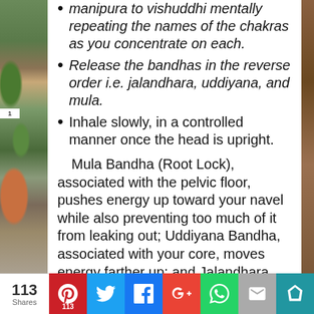manipura to vishuddhi mentally repeating the names of the chakras as you concentrate on each.
Release the bandhas in the reverse order i.e. jalandhara, uddiyana, and mula.
Inhale slowly, in a controlled manner once the head is upright.
Mula Bandha (Root Lock), associated with the pelvic floor, pushes energy up toward your navel while also preventing too much of it from leaking out; Uddiyana Bandha, associated with your core, moves energy farther up; and Jalandhara Bandha, located at the throat, pushes
113 Shares | Pinterest 113 | Twitter | Facebook | Google+ | WhatsApp | Email | Crown